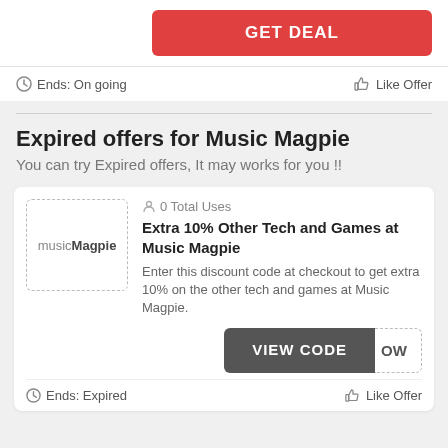GET DEAL
Ends: On going   Like Offer
Expired offers for Music Magpie
You can try Expired offers, It may works for you !!
0 Total Uses
Extra 10% Other Tech and Games at Music Magpie
Enter this discount code at checkout to get extra 10% on the other tech and games at Music Magpie.
VIEW CODE
Ends: Expired   Like Offer